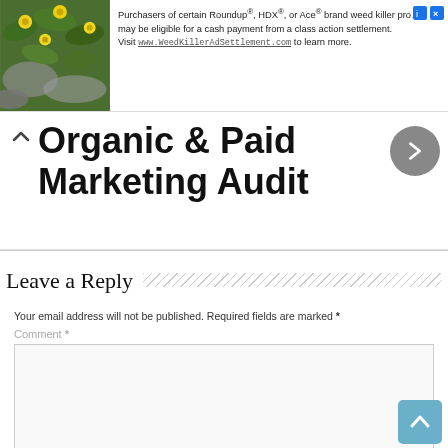[Figure (infographic): Advertisement banner with a photo of yellow flowers on green foliage on the left, and text on the right: 'Purchasers of certain Roundup®, HDX®, or Ace® brand weed killer products may be eligible for a cash payment from a class action settlement. Visit www.WeedKillerAdSettlement.com to learn more.' With close/info icons top right.]
Organic & Paid Marketing Audit
Leave a Reply
Your email address will not be published. Required fields are marked *
Comment *
Name *